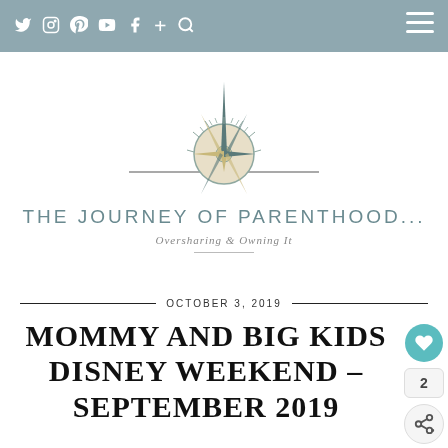Social nav bar with icons: Twitter, Instagram, Pinterest, YouTube, Facebook, Plus, Search, Hamburger menu
[Figure (logo): Compass rose illustration above text 'THE JOURNEY OF PARENTHOOD...' with tagline 'Oversharing & Owning It']
OCTOBER 3, 2019
MOMMY AND BIG KIDS DISNEY WEEKEND – SEPTEMBER 2019